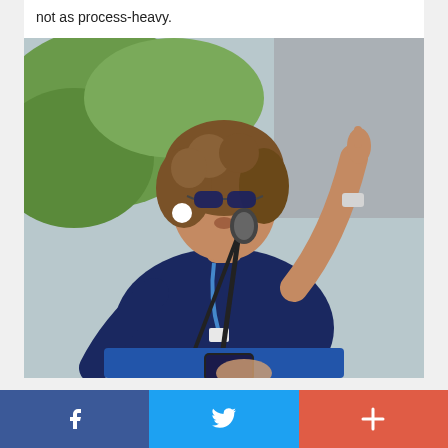not as process-heavy.
[Figure (photo): A woman with curly hair and sunglasses speaking at a microphone outdoors, wearing a navy sleeveless top and blue lanyard, pointing upward with one finger. Green foliage and a grey wall visible in the background. A hand holding a phone is visible in the foreground.]
Facebook share | Twitter share | More share options